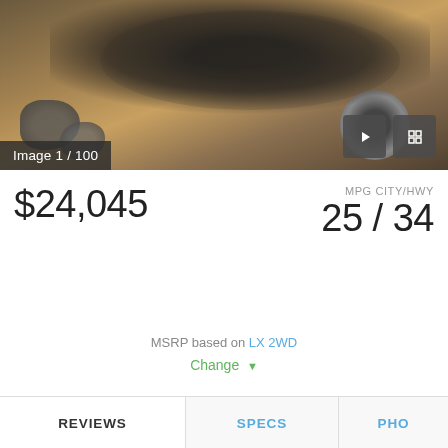[Figure (photo): Car photo - SUV on rocky terrain with sandy/golden ground, showing front and wheel area. Dark vehicle body visible against earthy background.]
Image 1 / 100
$24,045
MPG CITY/HWY
25 / 34
MSRP based on LX 2WD
Change
REVIEWS
SPECS
PHO
EXPERT REVIEW
CONSUMER REVIEWS